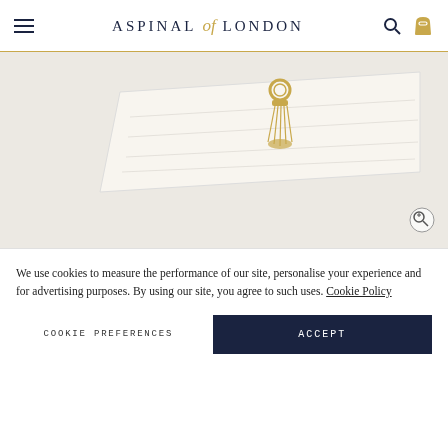Aspinal of London
[Figure (photo): Close-up of a white croc-embossed jewelry box with a gold tassel keychain hanging off the side, lid slightly open showing blue interior]
[Figure (photo): Thumbnail 1 (active/selected): Open jewelry box showing blue interior with items inside]
[Figure (photo): Thumbnail 2: Closed white croc jewelry box with gold tassel]
[Figure (photo): Thumbnail 3: Open white croc jewelry box with blue interior, items visible]
[Figure (photo): Thumbnail 4: Interior close-up showing blue lining with gold clasp detail]
Deep Shine Ivory Small Croc
We use cookies to measure the performance of our site, personalise your experience and for advertising purposes. By using our site, you agree to such uses. Cookie Policy
COOKIE PREFERENCES   ACCEPT